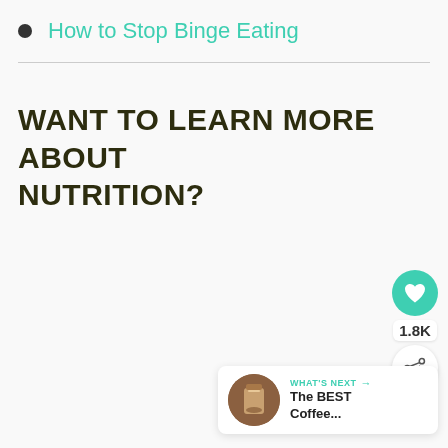How to Stop Binge Eating
WANT TO LEARN MORE ABOUT NUTRITION?
[Figure (infographic): Social sharing widget with a teal heart button, 1.8K count, and a share button with circular icon]
[Figure (infographic): WHAT'S NEXT card showing a coffee drink thumbnail image and text 'The BEST Coffee...']